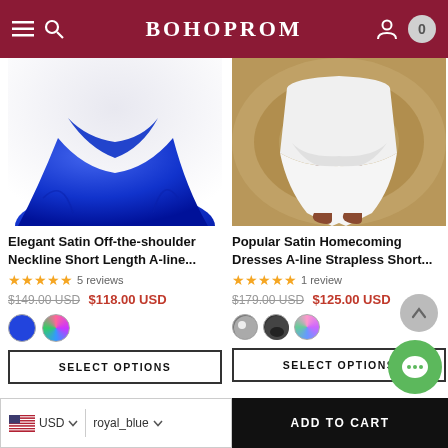BOHOPROM
[Figure (photo): Royal blue A-line short dress flared skirt product photo]
[Figure (photo): White chiffon homecoming dress strapless short product photo on patterned rug]
Elegant Satin Off-the-shoulder Neckline Short Length A-line...
Popular Satin Homecoming Dresses A-line Strapless Short...
★★★★★ 5 reviews
★★★★★ 1 review
$149.00 USD  $118.00 USD
$179.00 USD  $125.00 USD
SELECT OPTIONS
SELECT OPTIONS
USD  royal_blue
ADD TO CART